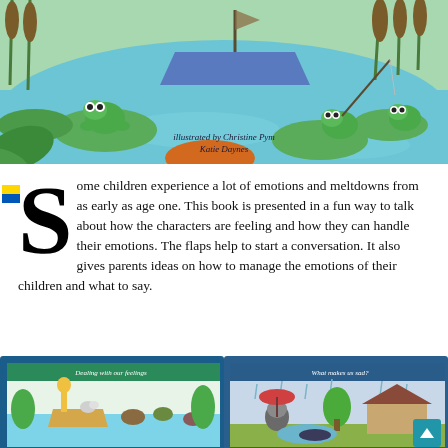[Figure (illustration): Children's book illustration showing cartoon frogs on lily pads in a pond with a blue boat and reeds. Text overlay reads 'illustrated by Christine Pym Katie Daynes']
Some children experience a lot of emotions and meltdowns from as early as age one. This book is presented in a fun way to talk about how the characters are feeling and how they can handle their emotions. The flaps help to start a conversation. It also gives parents ideas on how to manage the emotions of their children and what to say.
[Figure (photo): Book spread showing 'Dealing with our feelings' page with cartoon animals on boats]
[Figure (photo): Book spread showing 'What makes us sad?' page with cartoon raccoons in the rain]